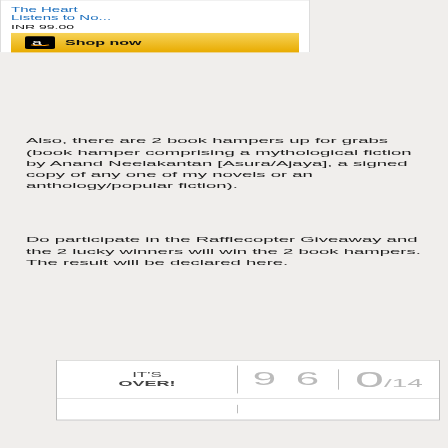[Figure (screenshot): Amazon book widget showing 'The Heart Listens to No...' priced at INR 99.00 with a Shop now button]
Also, there are 2 book hampers up for grabs (book hamper comprising a mythological fiction by Anand Neelakantan [Asura/Ajaya], a signed copy of any one of my novels or an anthology/popular fiction).
Do participate in the Rafflecopter Giveaway and the 2 lucky winners will win the 2 book hampers. The result will be declared here.
| IT'S OVER! | 9 6 | 0/14 |
|  |  |  |